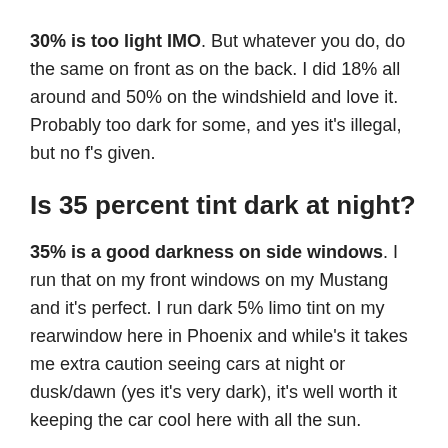30% is too light IMO. But whatever you do, do the same on front as on the back. I did 18% all around and 50% on the windshield and love it. Probably too dark for some, and yes it's illegal, but no f's given.
Is 35 percent tint dark at night?
35% is a good darkness on side windows. I run that on my front windows on my Mustang and it's perfect. I run dark 5% limo tint on my rearwindow here in Phoenix and while's it takes me extra caution seeing cars at night or dusk/dawn (yes it's very dark), it's well worth it keeping the car cool here with all the sun.